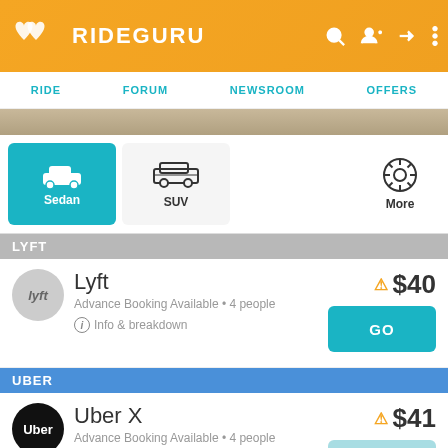RIDEGURU
RIDE  FORUM  NEWSROOM  OFFERS
[Figure (screenshot): Vehicle type selector with Sedan (active, teal), SUV, and More options]
LYFT
Lyft  ⚠ $40
Advance Booking Available • 4 people
Info & breakdown  GO
UBER
Uber X  ⚠ $41
Advance Booking Available • 4 people
Info & breakdown  GO